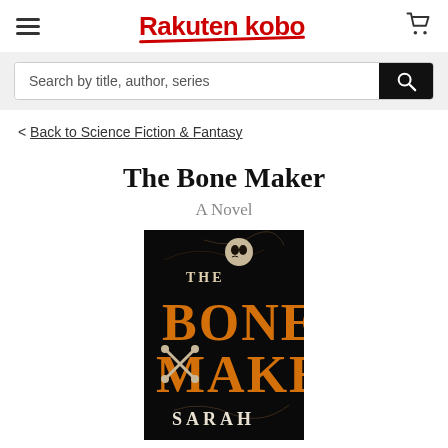[Figure (screenshot): Rakuten Kobo website header with hamburger menu icon on the left, Rakuten Kobo logo in red in the center, and shopping cart icon on the right]
[Figure (screenshot): Search bar with placeholder text 'Search by title, author, series' and a black search button with magnifying glass icon]
< Back to Science Fiction & Fantasy
The Bone Maker
A Novel
[Figure (illustration): Book cover of 'The Bone Maker' by Sarah — dark background with orange and white stylized text, skull imagery and bone motifs]